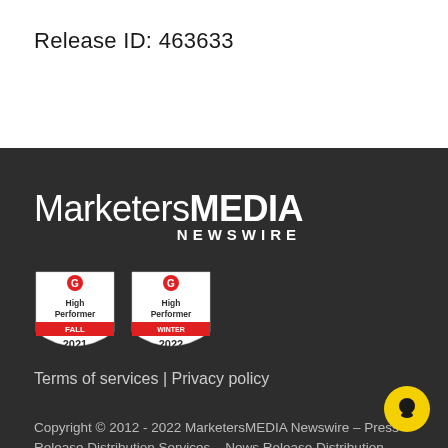Release ID: 463633
[Figure (logo): MarketersMEDIA Newswire logo in white text on dark background]
[Figure (illustration): Two G2 High Performer badges: Fall 2021 and Winter 2022]
Terms of services | Privacy policy
Copyright © 2012 - 2022 MarketersMEDIA Newswire – Press Release Distribution Services – News Release Distribution Services. All Rights Reserved.